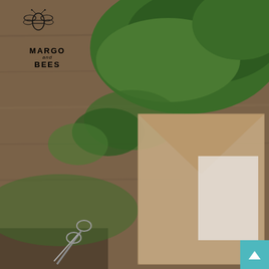[Figure (photo): Rustic wedding invitation product photo. Background shows wooden surface, green moss, and a kraft paper envelope. A kraft paper wedding invitation card is displayed with 'we do' in large script, tied with twine and a wooden birch heart. Scissors visible at bottom-left. Brand logo 'Margo and Bees' with bee illustration in top-left corner.]
[Figure (logo): Margo and Bees logo with illustrated bee above text reading MARGO and BEES]
we ♥ do
TOGETHER WITH THEIR PARENTS
BECKY S... WRIGHT
SATURDAY,
5th of September 2017
at two o'clock in the afternoon